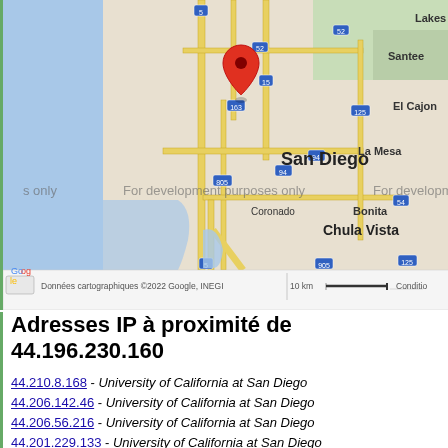[Figure (map): Google Maps screenshot showing San Diego area in California, with a red location pin marker near the center. Map shows roads, cities including San Diego, Chula Vista, Coronado, Imperial Beach, La Mesa, El Cajon, Santee, Bonita. Watermark reads 'For development purposes only'. Bottom bar shows 'Données cartographiques ©2022 Google, INEGI | 10 km | Conditions'.]
Adresses IP à proximité de 44.196.230.160
44.210.8.168 - University of California at San Diego
44.206.142.46 - University of California at San Diego
44.206.56.216 - University of California at San Diego
44.201.229.133 - University of California at San Diego
44.193.15.175 - University of California at San Diego